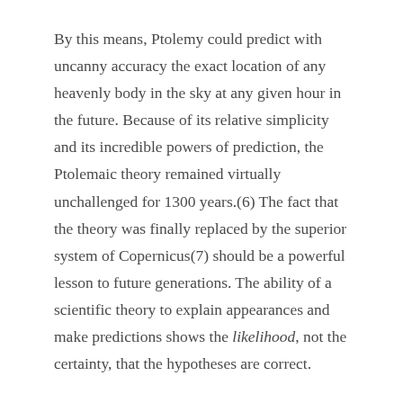By this means, Ptolemy could predict with uncanny accuracy the exact location of any heavenly body in the sky at any given hour in the future. Because of its relative simplicity and its incredible powers of prediction, the Ptolemaic theory remained virtually unchallenged for 1300 years.(6) The fact that the theory was finally replaced by the superior system of Copernicus(7) should be a powerful lesson to future generations. The ability of a scientific theory to explain appearances and make predictions shows the likelihood, not the certainty, that the hypotheses are correct.
The case of Galileo brings to light the controversial character of tnathematical physics. Following Pythagoras and Plato, Galileo took the extreme